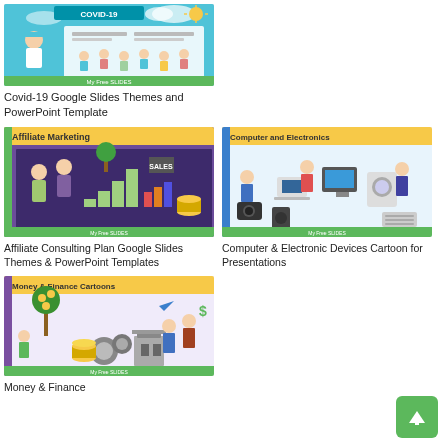[Figure (screenshot): Covid-19 Google Slides Themes and PowerPoint Template thumbnail showing a medical infographic with doctor cartoon and COVID symptoms]
Covid-19 Google Slides Themes and PowerPoint Template
[Figure (screenshot): Affiliate Marketing / Consulting Plan Google Slides Themes & PowerPoint Templates thumbnail showing business cartoon characters with charts and coins]
Affiliate Consulting Plan Google Slides Themes & PowerPoint Templates
[Figure (screenshot): Computer and Electronics cartoon for presentations thumbnail showing cartoon devices and people]
Computer & Electronic Devices Cartoon for Presentations
[Figure (screenshot): Money & Finance Cartoons Google Slides thumbnail showing cartoon characters with money coins and finance symbols]
Money & Finance